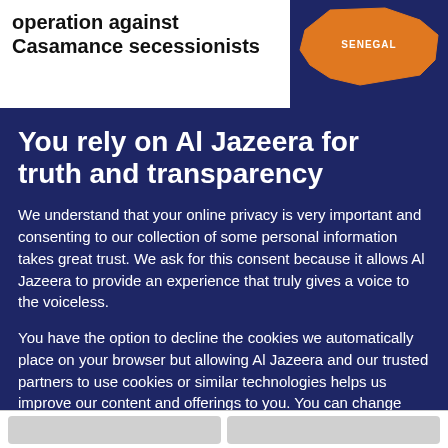operation against Casamance secessionists
[Figure (map): Map of Senegal with orange highlighted region, labeled SENEGAL in white text on dark navy background]
You rely on Al Jazeera for truth and transparency
We understand that your online privacy is very important and consenting to our collection of some personal information takes great trust. We ask for this consent because it allows Al Jazeera to provide an experience that truly gives a voice to the voiceless.
You have the option to decline the cookies we automatically place on your browser but allowing Al Jazeera and our trusted partners to use cookies or similar technologies helps us improve our content and offerings to you. You can change your privacy preferences at any time by selecting 'Cookie preferences' at the bottom of your screen. To learn more, please view our Cookie Policy.